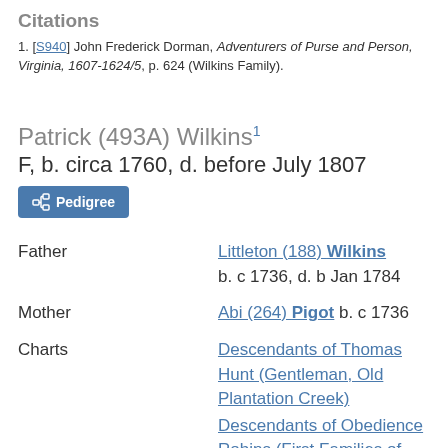Citations
[S940] John Frederick Dorman, Adventurers of Purse and Person, Virginia, 1607-1624/5, p. 624 (Wilkins Family).
Patrick (493A) Wilkins¹
F, b. circa 1760, d. before July 1807
Pedigree
|  |  |
| --- | --- |
| Father | Littleton (188) Wilkins b. c 1736, d. b Jan 1784 |
| Mother | Abi (264) Pigot b. c 1736 |
| Charts | Descendants of Thomas Hunt (Gentleman, Old Plantation Creek) Descendants of Obedience Robins (First Families of Virginia) |